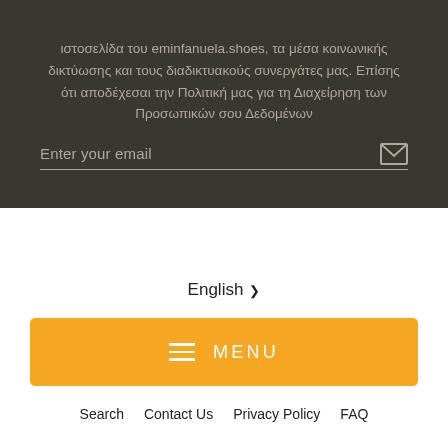ιστοσελίδα του eminfanuela.shoes, τα μέσα κοινωνικής δικτύωσης και τους διαδικτυακούς συνεργάτες μας. Επίσης ότι αποδέχεσαι την Πολιτική μας για τη Διαχείρηση των Προσωπικών σου Δεδομένων
Enter your email
English
MENU
Search   Contact Us   Privacy Policy   FAQ